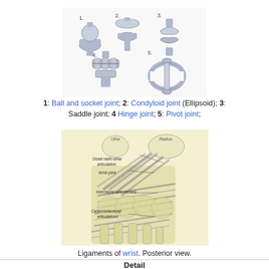[Figure (illustration): Diagram showing 5 types of synovial joints: 1. Ball and socket joint, 2. Condyloid joint (Ellipsoid), 3. Saddle joint, 4. Hinge joint, 5. Pivot joint — rendered as 3D gray shapes]
1: Ball and socket joint; 2: Condyloid joint (Ellipsoid); 3: Saddle joint; 4 Hinge joint; 5: Pivot joint;
[Figure (illustration): Anatomical illustration of ligaments of the wrist, posterior view. Labels include: Ulna, Radius, Distal radio-ulnar articulation, Wrist-joint, Intercarpal articulations, Carpometacarpal articulations]
Ligaments of wrist. Posterior view.
Detail